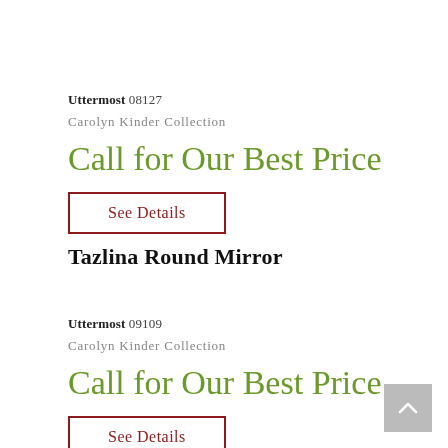Uttermost 08127
Carolyn Kinder Collection
Call for Our Best Price
See Details
Tazlina Round Mirror
Uttermost 09109
Carolyn Kinder Collection
Call for Our Best Price
See Details